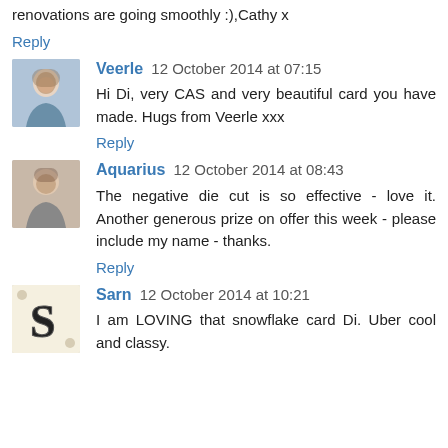renovations are going smoothly :),Cathy x
Reply
Veerle  12 October 2014 at 07:15
Hi Di, very CAS and very beautiful card you have made. Hugs from Veerle xxx
Reply
Aquarius  12 October 2014 at 08:43
The negative die cut is so effective - love it. Another generous prize on offer this week - please include my name - thanks.
Reply
Sarn  12 October 2014 at 10:21
I am LOVING that snowflake card Di. Uber cool and classy.